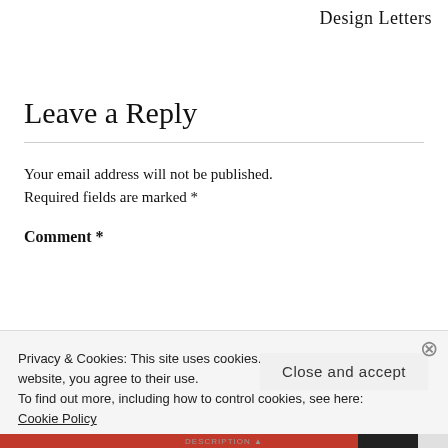Design Letters
Leave a Reply
Your email address will not be published. Required fields are marked *
Comment *
Privacy & Cookies: This site uses cookies. By continuing to use this website, you agree to their use.
To find out more, including how to control cookies, see here:
Cookie Policy
Close and accept